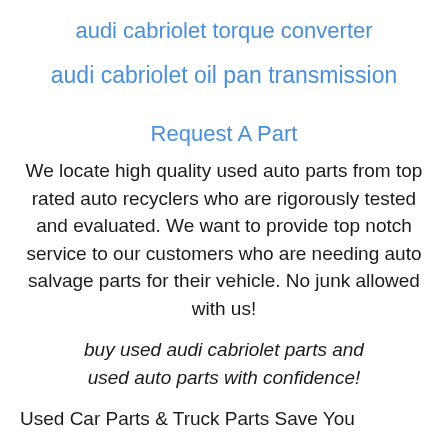audi cabriolet torque converter
audi cabriolet oil pan transmission
Request A Part
We locate high quality used auto parts from top rated auto recyclers who are rigorously tested and evaluated. We want to provide top notch service to our customers who are needing auto salvage parts for their vehicle. No junk allowed with us!
buy used audi cabriolet parts and used auto parts with confidence!
Used Car Parts & Truck Parts Save You